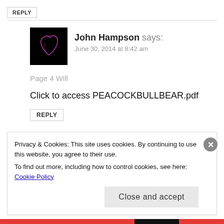REPLY
John Hampson says:
June 30, 2014 at 8:42 am
Page 4 Will
Click to access PEACOCKBULLBEAR.pdf
REPLY
Privacy & Cookies: This site uses cookies. By continuing to use this website, you agree to their use.
To find out more, including how to control cookies, see here: Cookie Policy
Close and accept